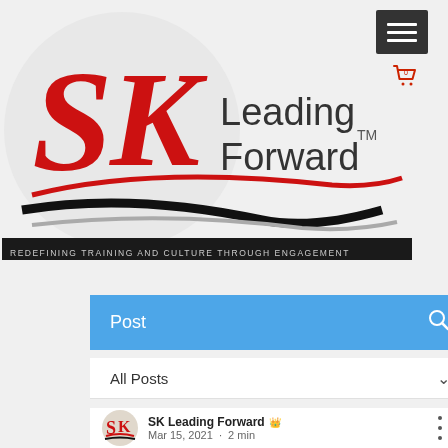[Figure (logo): SK Leading Forward logo with red SK letters, 'Leading Forward TM' text in dark grey, swoosh lines in red and black, tagline 'REDEFINING TRAINING AND CULTURE THROUGH ENGAGEMENT' on dark bar]
Post
All Posts
SK Leading Forward
Mar 15, 2021 · 2 min